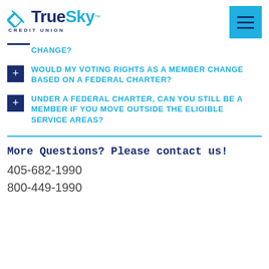[Figure (logo): True Sky Credit Union logo with blue diamond icon and hamburger menu button]
CHANGE?
WOULD MY VOTING RIGHTS AS A MEMBER CHANGE BASED ON A FEDERAL CHARTER?
UNDER A FEDERAL CHARTER, CAN YOU STILL BE A MEMBER IF YOU MOVE OUTSIDE THE ELIGIBLE SERVICE AREAS?
More Questions? Please contact us!
405-682-1990
800-449-1990